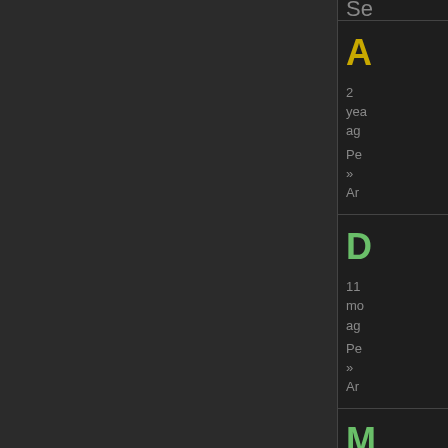Se
A
2 years ago
Pe » Ar
D
11 months ago
Pe » Ar
M